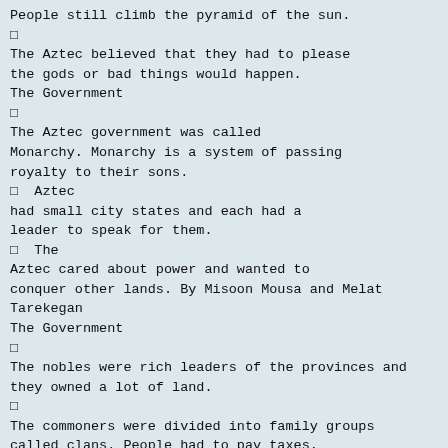People still climb the pyramid of the sun.
□
The Aztec believed that they had to please the gods or bad things would happen.
The Government
□
The Aztec government was called Monarchy. Monarchy is a system of passing royalty to their sons.
□  Aztec had small city states and each had a leader to speak for them.
□  The Aztec cared about power and wanted to conquer other lands. By Misoon Mousa and Melat Tarekegan
The Government
□
The nobles were rich leaders of the provinces and they owned a lot of land.
□
The commoners were divided into family groups called clans. People had to pay taxes.
□
The ruler or king was called tlatoani or the Great Speaker!
The Kings
□
The Aztec government had 11 rulers known as kings.
□
The most famous ruler was called